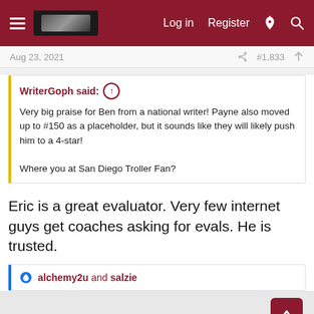Log in  Register
Aug 23, 2021   #1,833
WriterGoph said: ↑
Very big praise for Ben from a national writer! Payne also moved up to #150 as a placeholder, but it sounds like they will likely push him to a 4-star!

Where you at San Diego Troller Fan?
Eric is a great evaluator. Very few internet guys get coaches asking for evals. He is trusted.
alchemy2u and salzie
[Figure (screenshot): Advertisement bar at bottom: Senszio - Handmade by Expert Tailors, with BOOK NOW button]
[Figure (other): Scroll up and scroll down navigation buttons on right side]